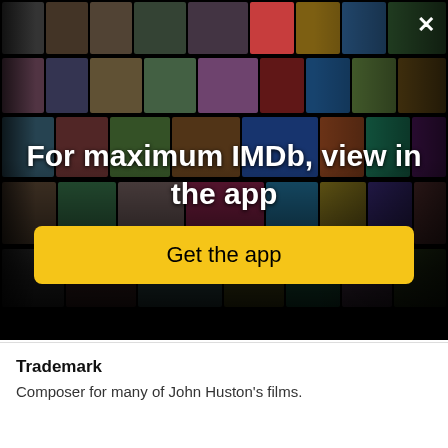[Figure (illustration): IMDb app promotional banner showing a collage of celebrity photos and movie posters arranged in a perspective grid on a black background, with a close (X) button in the top right corner, large white bold text reading 'For maximum IMDb, view in the app', and a yellow rounded button labeled 'Get the app'.]
Trademark
Composer for many of John Huston's films.